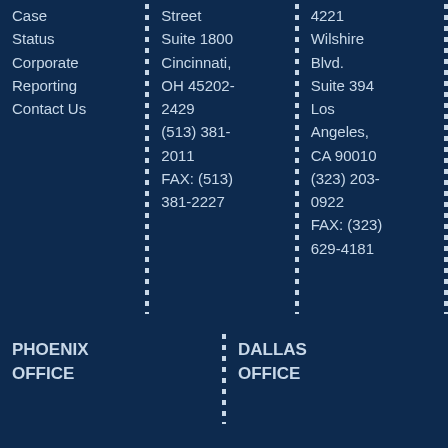Case Status Corporate Reporting Contact Us
Street Suite 1800 Cincinnati, OH 45202-2429 (513) 381-2011 FAX: (513) 381-2227
4221 Wilshire Blvd. Suite 394 Los Angeles, CA 90010 (323) 203-0922 FAX: (323) 629-4181
PHOENIX OFFICE
DALLAS OFFICE